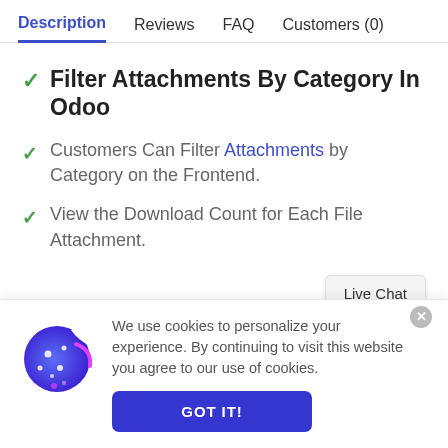Description | Reviews | FAQ | Customers (0)
✓ Filter Attachments By Category In Odoo
✓ Customers Can Filter Attachments by Category on the Frontend.
✓ View the Download Count for Each File Attachment.
Live Chat
We use cookies to personalize your experience. By continuing to visit this website you agree to our use of cookies.
GOT IT!